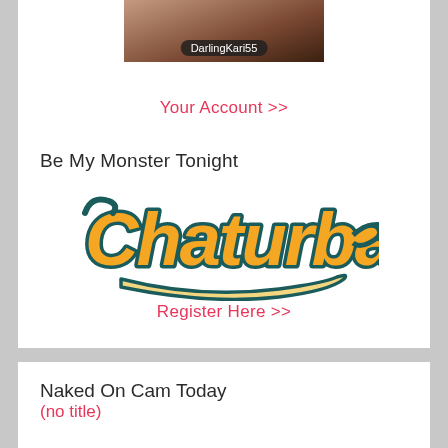[Figure (photo): Profile image of DarlingKari55 with a dark username badge overlay]
Your Account >>
Be My Monster Tonight
[Figure (logo): Chaturbate logo in orange and teal script lettering with underline swoosh]
Register Here >>
Naked On Cam Today
(no title)